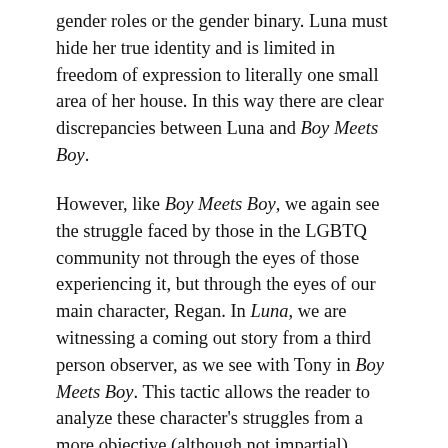gender roles or the gender binary. Luna must hide her true identity and is limited in freedom of expression to literally one small area of her house. In this way there are clear discrepancies between Luna and Boy Meets Boy.
However, like Boy Meets Boy, we again see the struggle faced by those in the LGBTQ community not through the eyes of those experiencing it, but through the eyes of our main character, Regan. In Luna, we are witnessing a coming out story from a third person observer, as we see with Tony in Boy Meets Boy. This tactic allows the reader to analyze these character's struggles from a more objective (although not impartial) perspective. The reader witnesses the coming out narrative from the outside-looking-in. I think both novels thus offer an important alternative perspective from which we